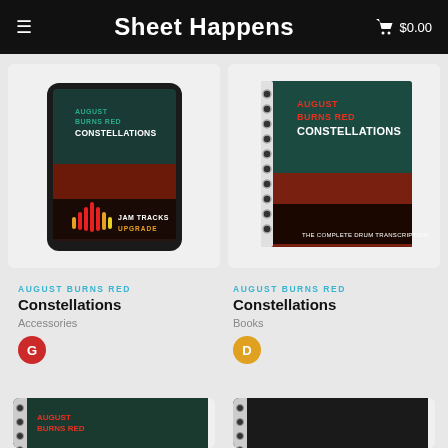Sheet Happens  $0.00
[Figure (photo): August Burns Red Constellations Jam Tracks Upgrade product image on tablet mockup]
[Figure (photo): August Burns Red Constellations spiral-bound book - The Complete Drum Transcription]
AUGUST BURNS RED
Constellations
Accessories
AUGUST BURNS RED
Constellations
Books
[Figure (photo): Partial view of another August Burns Red spiral-bound book product]
[Figure (photo): Partial view of another August Burns Red product]